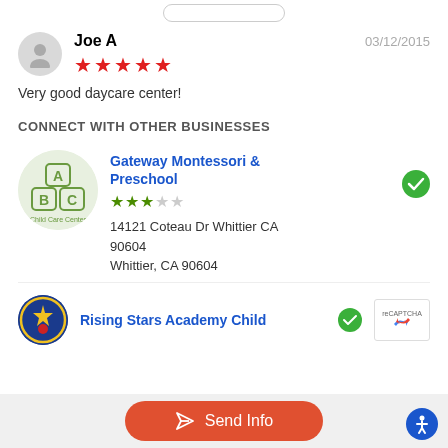Joe A
03/12/2015
★★★★★ (5 stars)
Very good daycare center!
CONNECT WITH OTHER BUSINESSES
Gateway Montessori & Preschool
★★★☆☆ (3 stars)
14121 Coteau Dr Whittier CA 90604
Whittier, CA 90604
Rising Stars Academy Child
Send Info